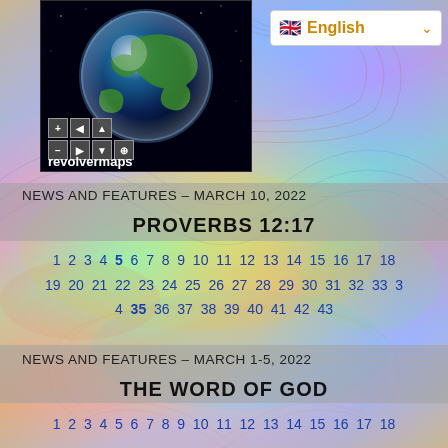[Figure (illustration): Revolvermaps interactive globe showing Earth from space, with navigation controls (plus, arrow, compass buttons) and 'revolvermaps' label at bottom]
[Figure (screenshot): Language selector showing UK flag and 'English' in orange with dropdown arrow, on white background]
NEWS AND FEATURES – MARCH 10, 2022
PROVERBS 12:17
1 2 3 4 5 6 7 8 9 10 11 12 13 14 15 16 17 18
19 20 21 22 23 24 25 26 27 28 29 30 31 32 33 3
4 35 36 37 38 39 40 41 42 43
NEWS AND FEATURES – MARCH 1-5, 2022
THE WORD OF GOD
1 2 3 4 5 6 7 8 9 10 11 12 13 14 15 16 17 18